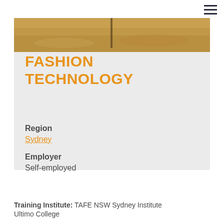[Figure (photo): Partial photo of a person on sandy ground, cropped at top of card area]
FASHION TECHNOLOGY
Region
Sydney
Employer
Self-employed
Training Institute: TAFE NSW Sydney Institute Ultimo College